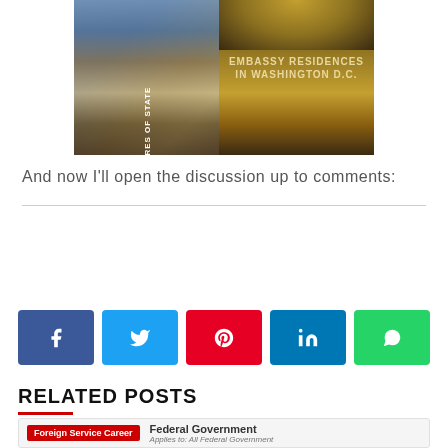[Figure (photo): Two book covers side by side: 'Treasures of State' on the left (blue spine visible, interior architectural photo) and 'Embassy Residences in Washington D.C.' on the right (dome ceiling photo)]
And now I'll open the discussion up to comments:
[Figure (infographic): Row of social media share buttons: Facebook (blue), Twitter (light blue), Pinterest (red), LinkedIn (blue), WhatsApp (green)]
RELATED POSTS
Foreign Service Career  |  Federal Government  Applies to: All Federal Government